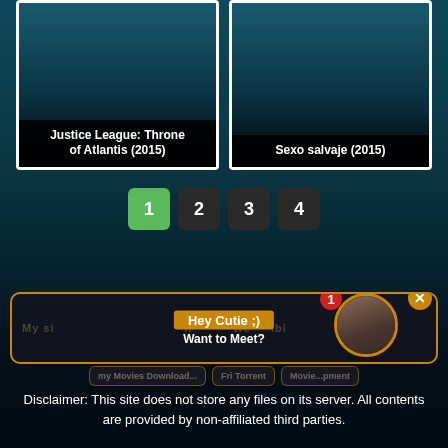[Figure (screenshot): Movie card with teal/dark gradient background showing 'Justice League: Throne of Atlantis (2015)' title at bottom on dark background with white border]
[Figure (screenshot): Movie card with teal/dark gradient background showing 'Sexo salvaje (2015)' title at bottom on dark background with white border]
1
2
3
4
[Figure (screenshot): Advertisement overlay with orange border showing 'Hey Cutie ;) Want to Meet?' with avatar image, badge showing 1 notification, and close button]
Disclaimer: This site does not store any files on its server. All contents are provided by non-affiliated third parties.